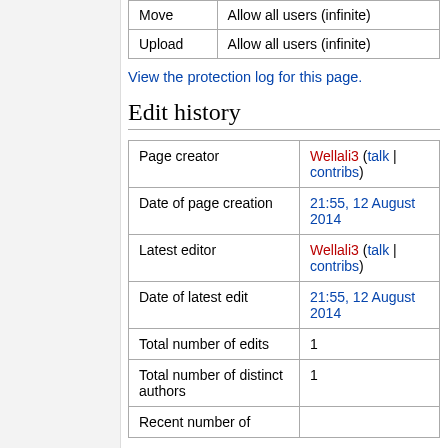| Move | Allow all users (infinite) |
| Upload | Allow all users (infinite) |
View the protection log for this page.
Edit history
| Page creator | Wellali3 (talk | contribs) |
| Date of page creation | 21:55, 12 August 2014 |
| Latest editor | Wellali3 (talk | contribs) |
| Date of latest edit | 21:55, 12 August 2014 |
| Total number of edits | 1 |
| Total number of distinct authors | 1 |
| Recent number of |  |